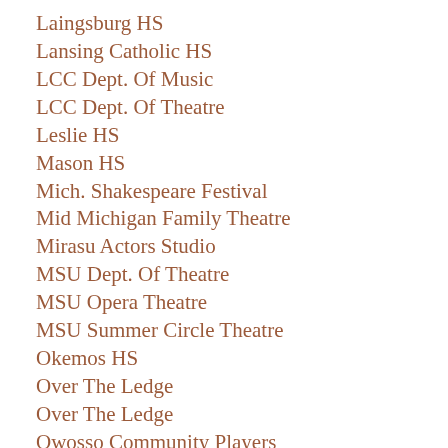Laingsburg HS
Lansing Catholic HS
LCC Dept. Of Music
LCC Dept. Of Theatre
Leslie HS
Mason HS
Mich. Shakespeare Festival
Mid Michigan Family Theatre
Mirasu Actors Studio
MSU Dept. Of Theatre
MSU Opera Theatre
MSU Summer Circle Theatre
Okemos HS
Over The Ledge
Over The Ledge
Owosso Community Players
Owosso HS
Peppermint Creek Theatre
Peppermint Creek Theatre